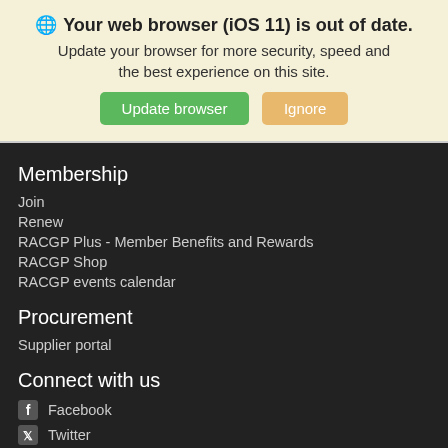Your web browser (iOS 11) is out of date.
Update your browser for more security, speed and the best experience on this site.
Membership
Join
Renew
RACGP Plus - Member Benefits and Rewards
RACGP Shop
RACGP events calendar
Procurement
Supplier portal
Connect with us
Facebook
Twitter
LinkedIn